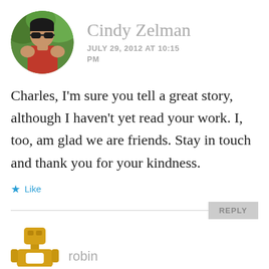[Figure (photo): Circular avatar photo of Cindy Zelman, a person wearing sunglasses and a red tank top, outdoors with green background]
Cindy Zelman
JULY 29, 2012 AT 10:15 PM
Charles, I'm sure you tell a great story, although I haven't yet read your work. I, too, am glad we are friends. Stay in touch and thank you for your kindness.
★ Like
REPLY
[Figure (illustration): Partial avatar icon in golden/amber color, showing a stylized figure/robot icon, partially cut off at bottom]
robin